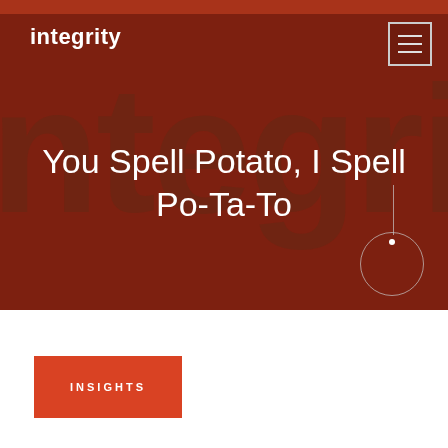[Figure (illustration): Dark red/brown hero banner with large watermark text 'ntegrity' in the background, a vertical decorative line with a dot and open circle graphic at bottom right.]
integrity
You Spell Potato, I Spell Po-Ta-To
INSIGHTS